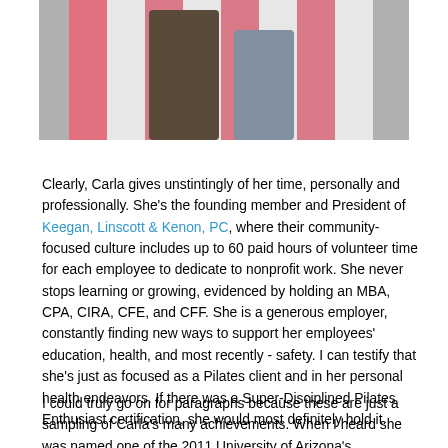[Figure (photo): Photo of two people standing in front of a pink and white striped background, cropped to show only the lower portion of their bodies.]
Clearly, Carla gives unstintingly of her time, personally and professionally. She's the founding member and President of Keegan, Linscott & Kenon, PC, where their community-focused culture includes up to 60 paid hours of volunteer time for each employee to dedicate to nonprofit work. She never stops learning or growing, evidenced by holding an MBA, CPA, CIRA, CFE, and CFF. She is a generous employer, constantly finding new ways to support her employees' education, health, and most recently - safety. I can testify that she's just as focused as a Pilates client and in her personal health endeavors. If there was a Super-Disciplined Pilates Enthusiast certification, she would most definitely hold it.
I could truly go on for paragraphs because these are just a sampling of Carla's many achievements. When I heard she was named one of the 2011 University of Arizona's